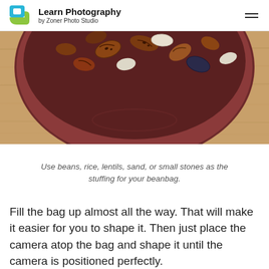Learn Photography by Zoner Photo Studio
[Figure (photo): A bowl of mixed beans — including pinto, white, and dark beans — sitting on a wooden table surface, viewed from above.]
Use beans, rice, lentils, sand, or small stones as the stuffing for your beanbag.
Fill the bag up almost all the way. That will make it easier for you to shape it. Then just place the camera atop the bag and shape it until the camera is positioned perfectly.